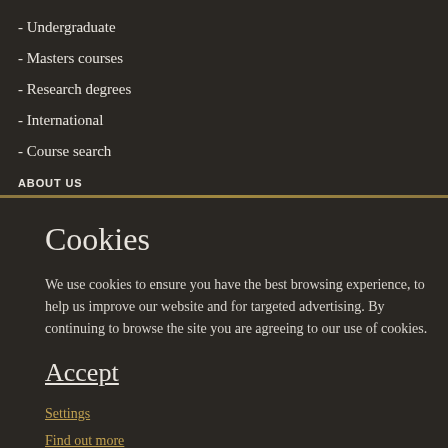- Undergraduate
- Masters courses
- Research degrees
- International
- Course search
ABOUT US
Cookies
We use cookies to ensure you have the best browsing experience, to help us improve our website and for targeted advertising. By continuing to browse the site you are agreeing to our use of cookies.
Accept
Settings
Find out more